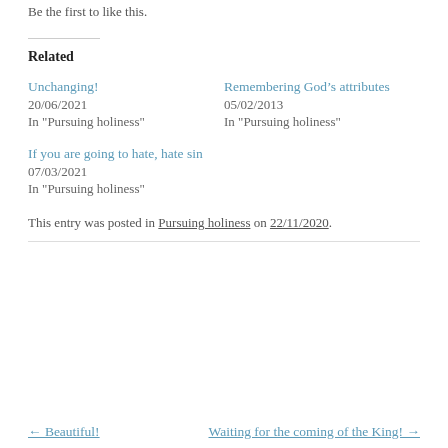Be the first to like this.
Related
Unchanging!
20/06/2021
In "Pursuing holiness"
Remembering God’s attributes
05/02/2013
In "Pursuing holiness"
If you are going to hate, hate sin
07/03/2021
In "Pursuing holiness"
This entry was posted in Pursuing holiness on 22/11/2020.
← Beautiful!
Waiting for the coming of the King! →